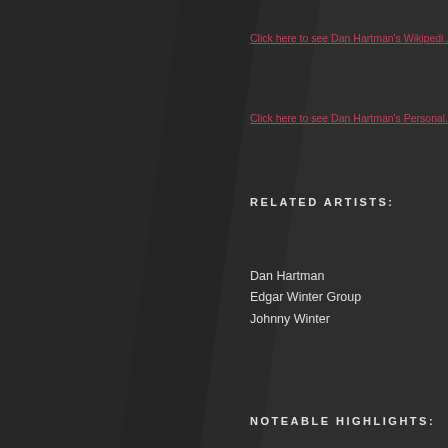Click here to see Dan Hartman's Wikipedia
Click here to see Dan Hartman's Personal
RELATED ARTISTS:
Dan Hartman
Edgar Winter Group
Johnny Winter
NOTEABLE HIGHLIGHTS:
[Figure (screenshot): Video thumbnail showing 'Legends - Fever Ga...' with a circular avatar of a person in a hat, and a black-and-white photo of a young man below]